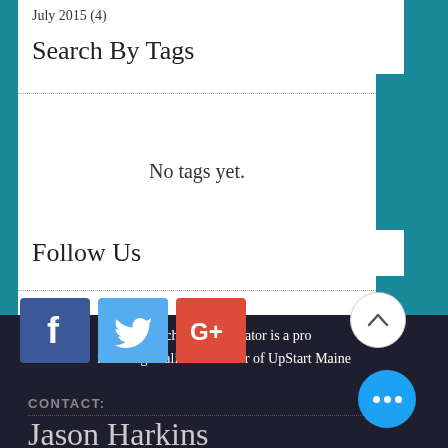July 2015 (4)
Search By Tags
No tags yet.
Follow Us
[Figure (other): Social media icons: Facebook (blue), Twitter (light blue), Google+ (red)]
Scratchpad Accelerator is a proud founding coalition member of UpStart Maine
CONTACT:
Jason Harkins